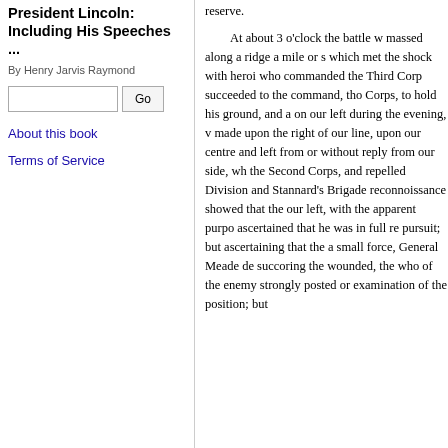President Lincoln: Including His Speeches ...
By Henry Jarvis Raymond
[Search input] Go
About this book
Terms of Service
reserve.

At about 3 o'clock the battle w massed along a ridge a mile or s which met the shock with heroi who commanded the Third Corp succeeded to the command, tho Corps, to hold his ground, and a on our left during the evening, v made upon the right of our line, upon our centre and left from or without reply from our side, wh the Second Corps, and repelled Division and Stannard's Brigade reconnoissance showed that the our left, with the apparent purpo ascertained that he was in full re pursuit; but ascertaining that the a small force, General Meade de succoring the wounded, the who of the enemy strongly posted or examination of the position; but